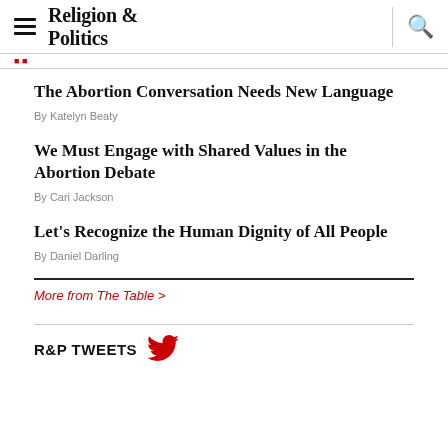Religion & Politics
The Abortion Conversation Needs New Language
By Katelyn Beaty
We Must Engage with Shared Values in the Abortion Debate
By Cari Jackson
Let's Recognize the Human Dignity of All People
By Daniel Darling
More from The Table >
R&P TWEETS